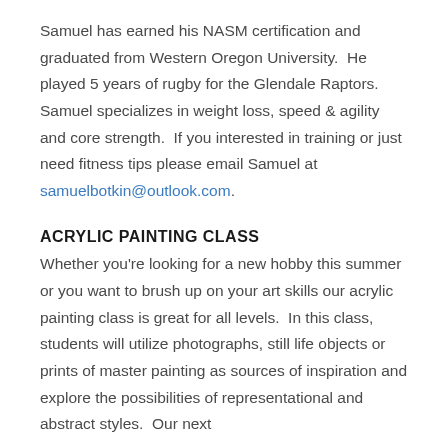Samuel has earned his NASM certification and graduated from Western Oregon University.  He played 5 years of rugby for the Glendale Raptors.  Samuel specializes in weight loss, speed & agility and core strength.  If you interested in training or just need fitness tips please email Samuel at samuelbotkin@outlook.com.
ACRYLIC PAINTING CLASS
Whether you're looking for a new hobby this summer or you want to brush up on your art skills our acrylic painting class is great for all levels.  In this class, students will utilize photographs, still life objects or prints of master painting as sources of inspiration and explore the possibilities of representational and abstract styles.  Our next